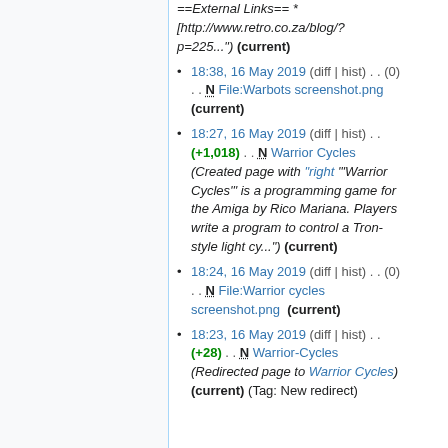==External Links== * [http://www.retro.co.za/blog/?p=225...") (current)
18:38, 16 May 2019 (diff | hist) . . (0) . . N File:Warbots screenshot.png (current)
18:27, 16 May 2019 (diff | hist) . . (+1,018) . . N Warrior Cycles (Created page with "right "'Warrior Cycles'" is a programming game for the Amiga by Rico Mariana. Players write a program to control a Tron-style light cy...") (current)
18:24, 16 May 2019 (diff | hist) . . (0) . . N File:Warrior cycles screenshot.png (current)
18:23, 16 May 2019 (diff | hist) . . (+28) . . N Warrior-Cycles (Redirected page to Warrior Cycles) (current) (Tag: New redirect)